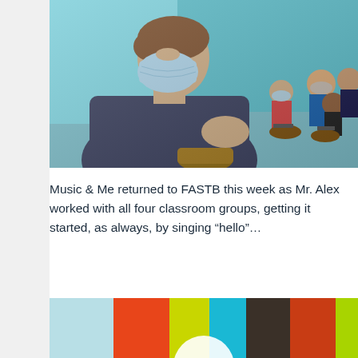[Figure (photo): A child wearing a blue face mask sitting in the foreground with a drum, in a brightly lit classroom with blue walls. Other children in masks sit in a circle with drums in the background.]
Music & Me returned to FASTB this week as Mr. Alex worked with all four classroom groups, getting it started, as always, by singing “hello”…
[Figure (illustration): Colorful vertical bars in teal, orange, yellow-green, cyan, dark brown/charcoal, red-orange, and lime green, with a partial white circular logo shape visible at the bottom center. This appears to be a logo or branding graphic.]